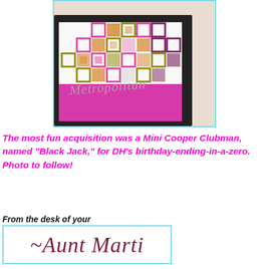[Figure (photo): A framed artwork with a black frame showing a quilt-like pattern of colorful squares (pink, orange, olive/gold, purple, white) at the top, and a magenta/pink band at the bottom with cursive 'Metropolitan' text. The framed piece is photographed against a beige/cream background.]
The most fun acquisition was a Mini Cooper Clubman, named "Black Jack," for DH's birthday-ending-in-a-zero. Photo to follow!
From the desk of your
~Aunt Marti